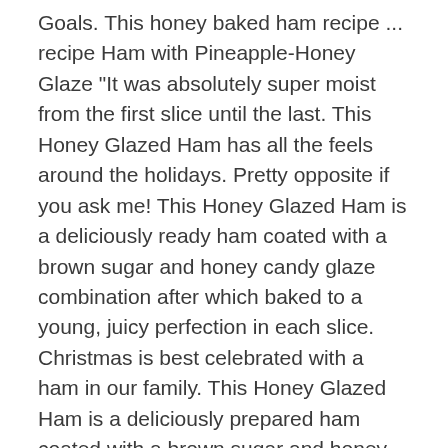Goals. This honey baked ham recipe ... recipe Ham with Pineapple-Honey Glaze "It was absolutely super moist from the first slice until the last. This Honey Glazed Ham has all the feels around the holidays. Pretty opposite if you ask me! This Honey Glazed Ham is a deliciously ready ham coated with a brown sugar and honey candy glaze combination after which baked to a young, juicy perfection in each slice. Christmas is best celebrated with a ham in our family. This Honey Glazed Ham is a deliciously prepared ham coated with a brown sugar and honey sweet glaze mixture and then baked to a tender, juicy perfection in every slice. Roast for 2 hours. Honey Glazed Ham is a one of my favorite meals during the holidays! Join my free email list to receive THREE free cookbooks! If using whole cloves, put them in between the lines you scored, but remove before cutting and eating. In the top half of a double boiler, heat the corn